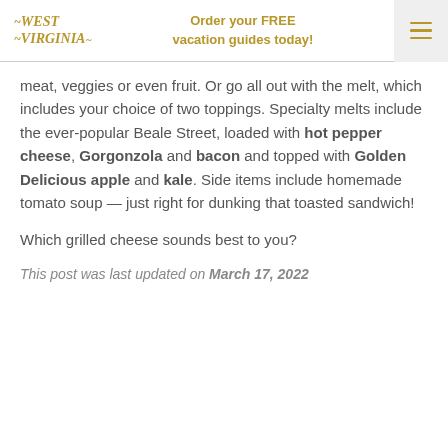West Virginia | Order your FREE vacation guides today!
meat, veggies or even fruit. Or go all out with the melt, which includes your choice of two toppings. Specialty melts include the ever-popular Beale Street, loaded with hot pepper cheese, Gorgonzola and bacon and topped with Golden Delicious apple and kale. Side items include homemade tomato soup — just right for dunking that toasted sandwich!
Which grilled cheese sounds best to you?
This post was last updated on March 17, 2022